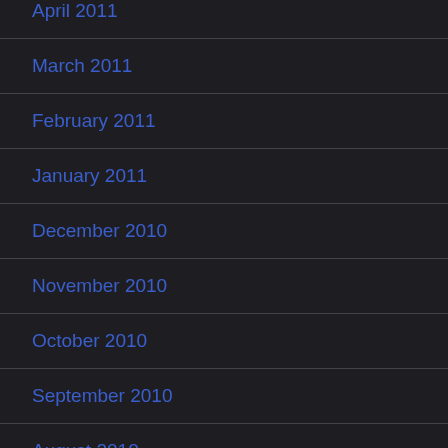April 2011
March 2011
February 2011
January 2011
December 2010
November 2010
October 2010
September 2010
August 2010
July 2010
June 2010